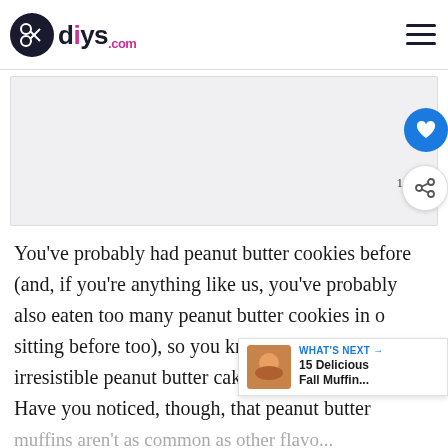diys.com
[Figure (photo): Large image placeholder area (greyed out / loading state)]
You've probably had peanut butter cookies before (and, if you're anything like us, you've probably also eaten too many peanut butter cookies in one sitting before too), so you know how rich and irresistible peanut butter caked goods are. Have you noticed, though, that peanut butter muffins aren't as common as other flavors of